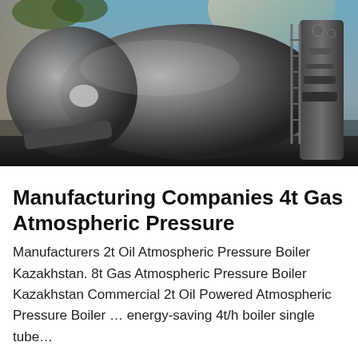[Figure (photo): Industrial gas atmospheric pressure boiler — large horizontal cylindrical metal vessel with pipes and control panel on the right side, photographed outdoors near a brick wall]
Manufacturing Companies 4t Gas Atmospheric Pressure
Manufacturers 2t Oil Atmospheric Pressure Boiler Kazakhstan. 8t Gas Atmospheric Pressure Boiler Kazakhstan Commercial 2t Oil Powered Atmospheric Pressure Boiler … energy-saving 4t/h boiler single tube…
Get Price